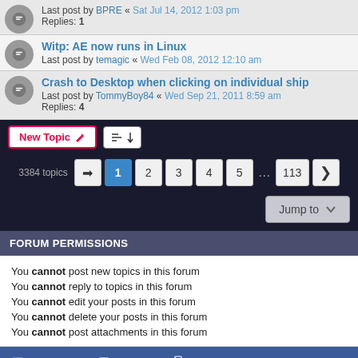Last post by BPRE « Sat Jul 14, 2012 1:03 pm
Replies: 1
Witp: AE now runs in Linux
Last post by temagic « Wed Feb 08, 2012 12:10 am
Crash to Desktop when clicking on individual ship
Last post by TommyBoy84 « Wed Sep 21, 2011 8:59 am
Replies: 4
New Topic | Sort | 3384 topics | Page 1 2 3 4 5 ... 113 >
Jump to
FORUM PERMISSIONS
You cannot post new topics in this forum
You cannot reply to topics in this forum
You cannot edit your posts in this forum
You cannot delete your posts in this forum
You cannot post attachments in this forum
Board index | Contact us | Delete cookies | All times are UTC
Powered by phpBB® Forum Software © phpBB Limited
Privacy | Terms